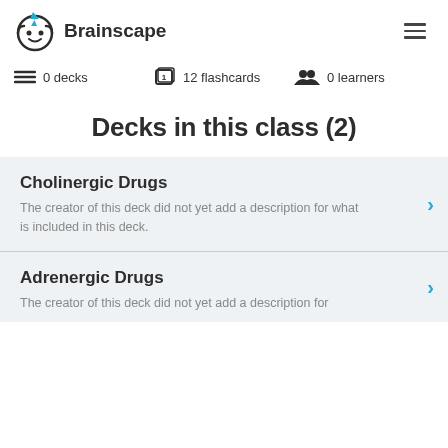[Figure (logo): Brainscape logo — owl face icon with lightning bolt, followed by text 'Brainscape']
0 decks   12 flashcards   0 learners
Decks in this class (2)
Cholinergic Drugs
The creator of this deck did not yet add a description for what is included in this deck.
Adrenergic Drugs
The creator of this deck did not yet add a description for